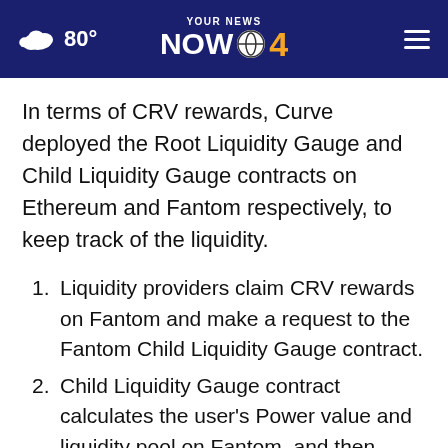80° YOUR NEWS NOW 4
In terms of CRV rewards, Curve deployed the Root Liquidity Gauge and Child Liquidity Gauge contracts on Ethereum and Fantom respectively, to keep track of the liquidity.
1. Liquidity providers claim CRV rewards on Fantom and make a request to the Fantom Child Liquidity Gauge contract.
2. Child Liquidity Gauge contract calculates the user's Power value and liquidity pool on Fantom, and then submits cross-chain